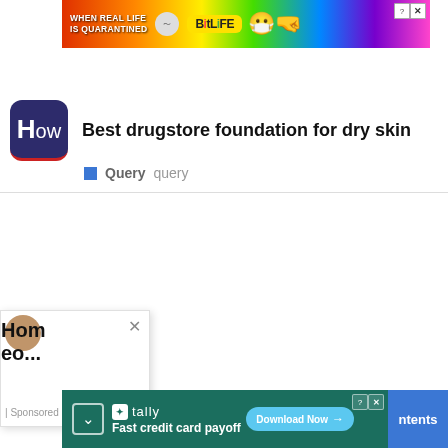[Figure (screenshot): BitLife app advertisement banner with rainbow background showing 'WHEN REAL LIFE IS QUARANTINED' text and BitLife logo]
Best drugstore foundation for dry skin
Query  query
[Figure (screenshot): Popup ad overlay showing partially visible thumbnail image, close button, text 'Hom eo...' and '| Sponsored']
[Figure (screenshot): Tally app advertisement banner with dark green background showing 'Fast credit card payoff' and 'Download Now' CTA button]